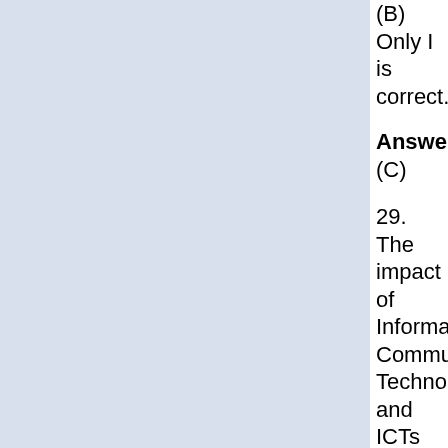(B) Only I is correct.
Answer: (C)
29. The impact of Information Communication Technologies and ICTs in practice is evident in
I. Networks in society
II.